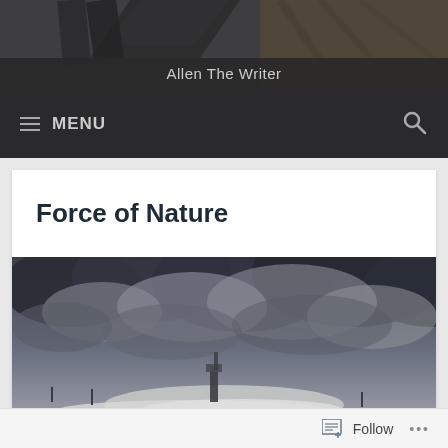[Figure (photo): Dark background header photo showing books and a wooden desk surface, with a semi-transparent dark banner overlaid showing the site title 'Allen The Writer']
Allen The Writer
≡ MENU
Force of Nature
[Figure (photo): Dramatic stormy sky photo with dark grey clouds and a structure visible below being hit by waves or spray]
Follow